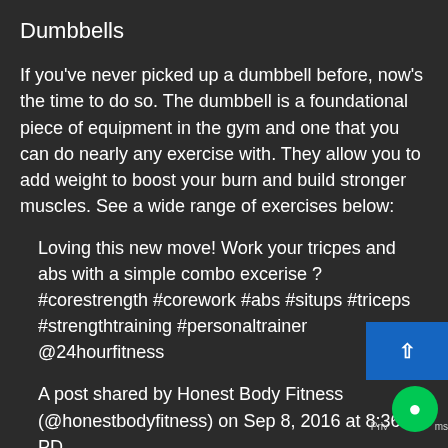Dumbbells
If you've never picked up a dumbbell before, now's the time to do so. The dumbbell is a foundational piece of equipment in the gym and one that you can do nearly any exercise with. They allow you to add weight to boost your burn and build stronger muscles. See a wide range of exercises below:
Loving this new move! Work your tricpes and abs with a simple combo excerise ? #corestrength #corework #abs #situps #triceps #strengthtraining #personaltrainer @24hourfitness
A post shared by Honest Body Fitness (@honestbodyfitness) on Sep 8, 2016 at 8:36am PD
It's amazing how a small tweak – the bumbell